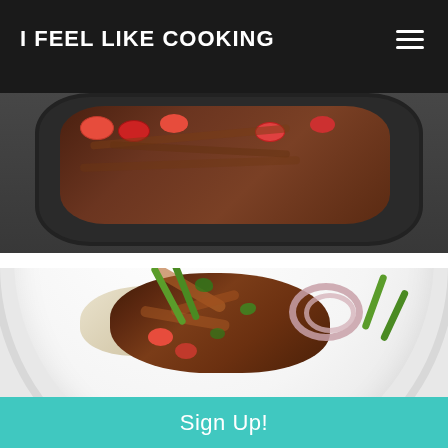I FEEL LIKE COOKING
[Figure (photo): Overhead view of a dark cooking pan with sautéed meat and halved cherry tomatoes]
[Figure (photo): Overhead view of a white plate with stir-fried beef strips, asparagus, tomatoes, red onion rings, cilantro, and rice]
Sign Up!